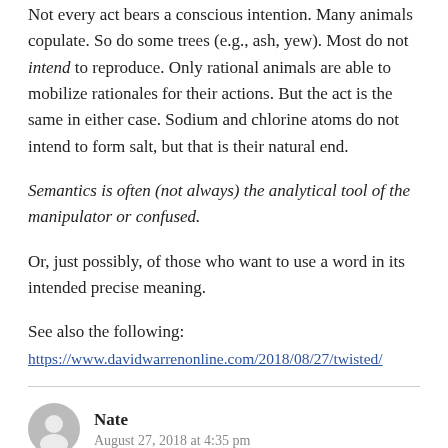Not every act bears a conscious intention. Many animals copulate. So do some trees (e.g., ash, yew). Most do not intend to reproduce. Only rational animals are able to mobilize rationales for their actions. But the act is the same in either case. Sodium and chlorine atoms do not intend to form salt, but that is their natural end.
Semantics is often (not always) the analytical tool of the manipulator or confused.
Or, just possibly, of those who want to use a word in its intended precise meaning.
See also the following: https://www.davidwarrenonline.com/2018/08/27/twisted/
Nate
August 27, 2018 at 4:35 pm
The one leap I that I still don't see sufficient evidence for is that procreation is the *only* object of sex. Biologically,